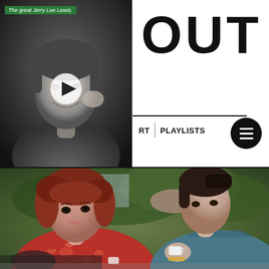[Figure (photo): Black and white photo of Jerry Lee Lewis smiling, with a video play button overlay and green caption bar reading 'The great Jerry Lee Lewis.']
The great Jerry Lee Lewis.
OUT
RT   PLAYLISTS
[Figure (photo): Color photograph of two women sitting outdoors at a table. The woman on the left has auburn hair and wears a red patterned blouse; the woman on the right has dark hair and wears a teal/blue top and holds a cup.]